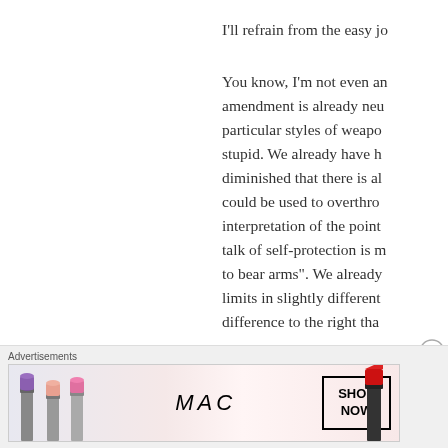I'll refrain from the easy jo
You know, I'm not even an amendment is already neu particular styles of weapo stupid. We already have h diminished that there is al could be used to overthro interpretation of the point talk of self-protection is m to bear arms". We already limits in slightly different difference to the right tha
[Figure (other): Close/dismiss button (X in circle)]
Advertisements
[Figure (other): MAC Cosmetics advertisement showing lipsticks in purple, peach, and pink colors with MAC logo and SHOP NOW button, and a red lipstick on the right]